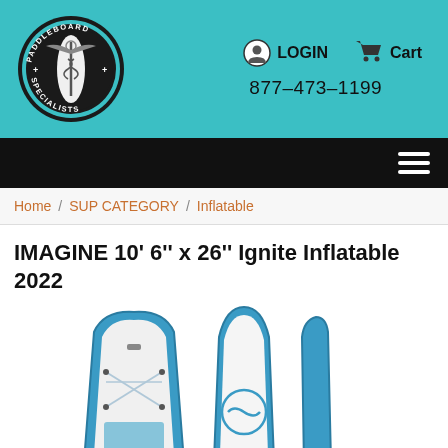[Figure (logo): Paddleboard Specialists circular logo with winged caduceus on a surfboard]
LOGIN
Cart
877-473-1199
Home / SUP CATEGORY / Inflatable
IMAGINE 10' 6'' x 26'' Ignite Inflatable 2022
[Figure (photo): Three views of an inflatable paddleboard (IMAGINE Ignite 2022): front angled view showing deck pad and bungee cords, front straight view showing white deck with wave logo, and side profile view — all in blue and white color scheme]